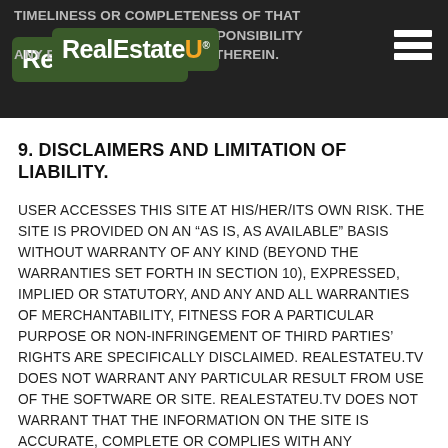TIMELINESS OR COMPLETENESS OF THAT [RealEstateU logo] MES NO RESPONSIBILITY ANY ERRORS OR OMISSIONS THEREIN.
9. DISCLAIMERS AND LIMITATION OF LIABILITY.
USER ACCESSES THIS SITE AT HIS/HER/ITS OWN RISK. THE SITE IS PROVIDED ON AN “AS IS, AS AVAILABLE” BASIS WITHOUT WARRANTY OF ANY KIND (BEYOND THE WARRANTIES SET FORTH IN SECTION 10), EXPRESSED, IMPLIED OR STATUTORY, AND ANY AND ALL WARRANTIES OF MERCHANTABILITY, FITNESS FOR A PARTICULAR PURPOSE OR NON-INFRINGEMENT OF THIRD PARTIES’ RIGHTS ARE SPECIFICALLY DISCLAIMED. REALESTATEU.TV DOES NOT WARRANT ANY PARTICULAR RESULT FROM USE OF THE SOFTWARE OR SITE. REALESTATEU.TV DOES NOT WARRANT THAT THE INFORMATION ON THE SITE IS ACCURATE, COMPLETE OR COMPLIES WITH ANY PARTICULAR LAW OR REGULATION, OR THAT THE